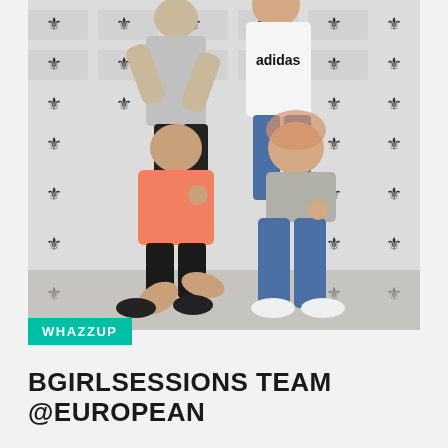[Figure (photo): Four young women posing in front of a step-and-repeat press wall with Russian government eagle logos. Two stand in the back wearing grey/white tops and jeans. Two crouch in front — one in a pink shirt with black shorts, one in a grey crop top and blue jeans. All are smiling and making peace/victory hand signs.]
WHAZZUP
BGIRLSESSIONS TEAM @EUROPEAN